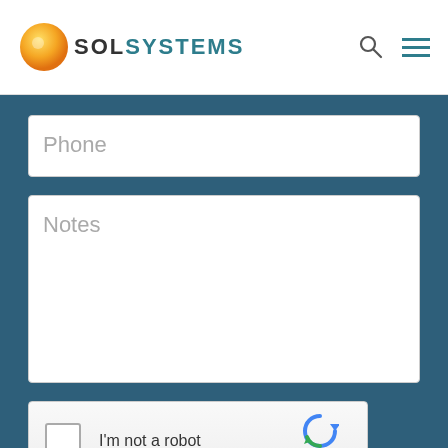SOL SYSTEMS
Phone
Notes
[Figure (other): reCAPTCHA widget with checkbox labeled I'm not a robot, reCAPTCHA logo, Privacy and Terms links]
Submit